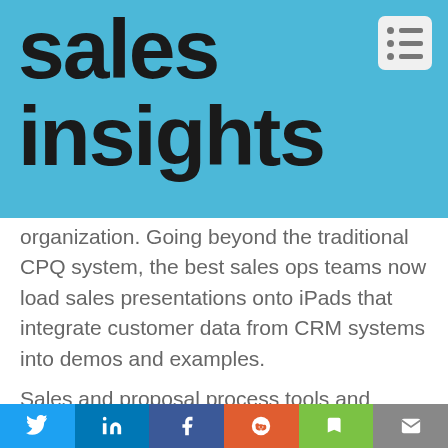sales insights
organization. Going beyond the traditional CPQ system, the best sales ops teams now load sales presentations onto iPads that integrate customer data from CRM systems into demos and examples.
Sales and proposal process tools and systems should focus
This website uses cookies to improve your experience. You can opt out if you wish. Cookie settings ACCEPT
Twitter LinkedIn Facebook Reddit Bookmark Email